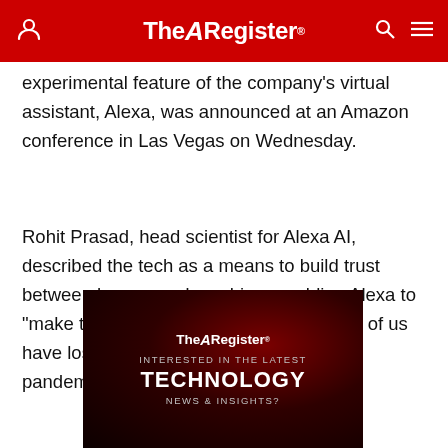The Register
experimental feature of the company's virtual assistant, Alexa, was announced at an Amazon conference in Las Vegas on Wednesday.
Rohit Prasad, head scientist for Alexa AI, described the tech as a means to build trust between human and machine, enabling Alexa to "make the memories last" when "so many of us have lost someone we love" during the pandemic.
[Figure (screenshot): The Register advertisement banner with text: INTERESTED IN THE LATEST TECHNOLOGY NEWS & INSIGHTS?]